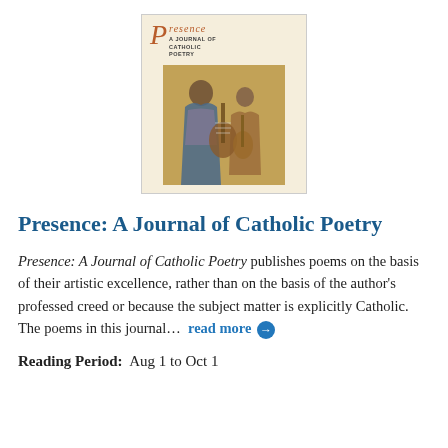[Figure (illustration): Cover of Presence: A Journal of Catholic Poetry, showing the journal's masthead with a stylized red italic 'P' followed by 'resence' in red, subtitle 'A JOURNAL OF CATHOLIC POETRY' in small caps, and below a painting of medieval or religious figures playing instruments.]
Presence: A Journal of Catholic Poetry
Presence: A Journal of Catholic Poetry publishes poems on the basis of their artistic excellence, rather than on the basis of the author's professed creed or because the subject matter is explicitly Catholic. The poems in this journal...  read more
Reading Period:  Aug 1 to Oct 1